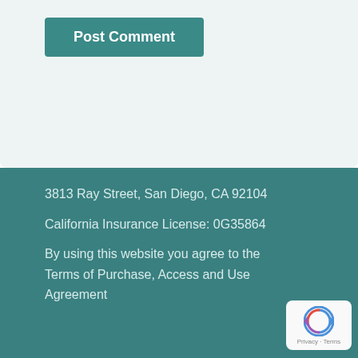[Figure (other): Post Comment button with teal background]
This site uses Akismet to reduce spam. Learn how your comment data is processed.
3813 Ray Street, San Diego, CA 92104
California Insurance License: 0G35864
By using this website you agree to the Terms of Purchase, Access and Use Agreement
[Figure (logo): reCAPTCHA badge with Privacy and Terms labels]